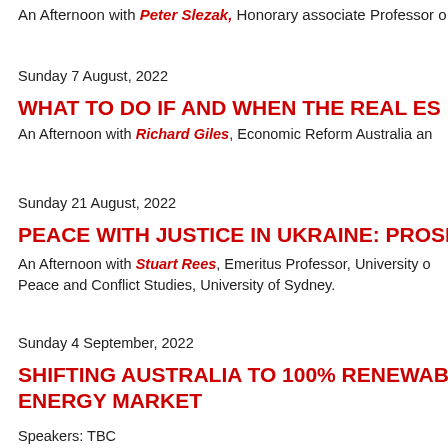An Afternoon with Peter Slezak, Honorary associate Professor o
Sunday 7 August, 2022
WHAT TO DO IF AND WHEN THE REAL ES
An Afternoon with Richard Giles, Economic Reform Australia an
Sunday 21 August, 2022
PEACE WITH JUSTICE IN UKRAINE: PROSP
An Afternoon with Stuart Rees, Emeritus Professor, University o Peace and Conflict Studies, University of Sydney.
Sunday 4 September, 2022
SHIFTING AUSTRALIA TO 100% RENEWABL ENERGY MARKET
Speakers: TBC